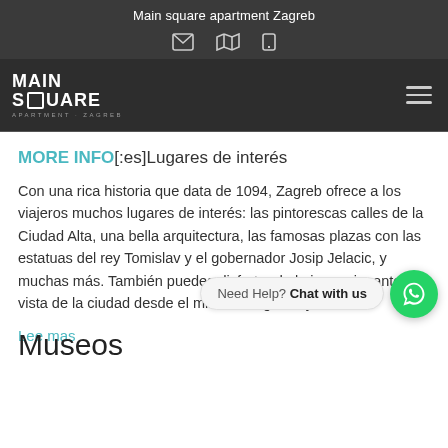Main square apartment Zagreb
MORE INFO[:es]Lugares de interés
Con una rica historia que data de 1094, Zagreb ofrece a los viajeros muchos lugares de interés: las pintorescas calles de la Ciudad Alta, una bella arquitectura, las famosas plazas con las estatuas del rey Tomislav y el gobernador Josip Jelacic, y muchas más. También puedes disfrutar de la impresionante vista de la ciudad desde el mirador Zagreb Eye.
Lee mas
Need Help? Chat with us
Museos